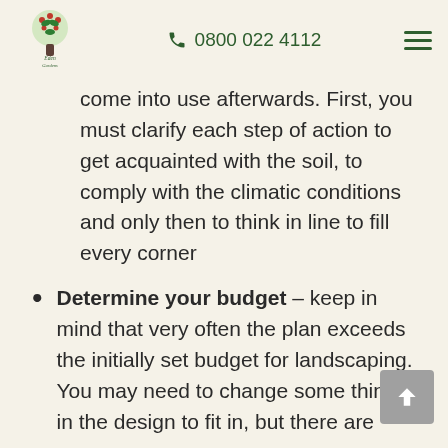Eden Gardens | 0800 022 4112
come into use afterwards. First, you must clarify each step of action to get acquainted with the soil, to comply with the climatic conditions and only then to think in line to fill every corner
Determine your budget – keep in mind that very often the plan exceeds the initially set budget for landscaping. You may need to change some things in the design to fit in, but there are